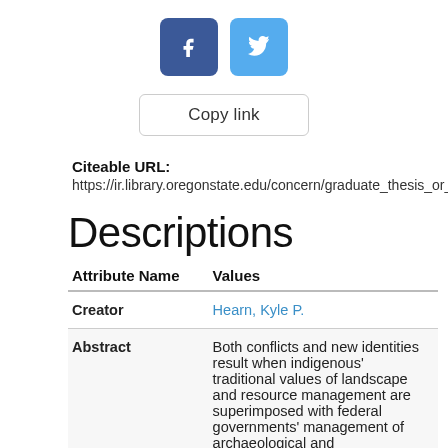[Figure (other): Social sharing buttons: Facebook (dark blue) and Twitter (light blue)]
Copy link
Citeable URL:
https://ir.library.oregonstate.edu/concern/graduate_thesis_or_diss
Descriptions
| Attribute Name | Values |
| --- | --- |
| Creator | Hearn, Kyle P. |
| Abstract | Both conflicts and new identities result when indigenous' traditional values of landscape and resource management are superimposed with federal governments' management of archaeological and |